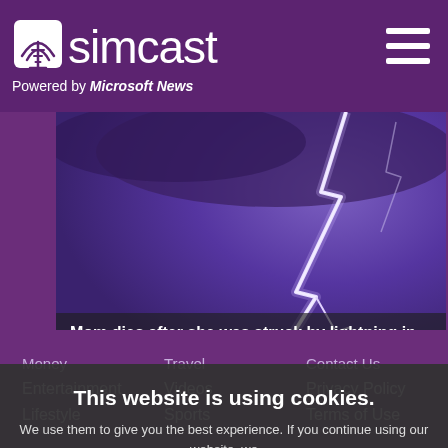simcast — Powered by Microsoft News
[Figure (photo): Lightning strike against purple sky — news article photo for 'Mom dies after she was struck by lightning in Florida']
Mom dies after she was struck by lightning in Florida
This website is using cookies. We use them to give you the best experience. If you continue using our website, we will assume that you are happy to receive all cookies on this website.
Money
Travel
Contact Us
Entertainment
Videos
Privacy Policy
Lifestyle
Sports
Terms of Use